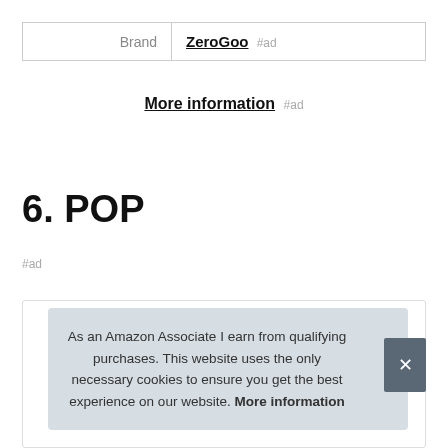| Brand | ZeroGoo #ad |
| --- | --- |
More information #ad
6. POP
#ad
As an Amazon Associate I earn from qualifying purchases. This website uses the only necessary cookies to ensure you get the best experience on our website. More information